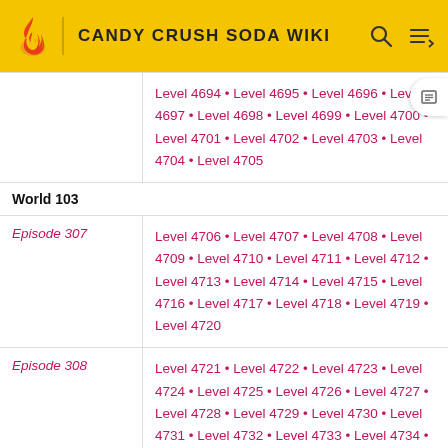CANDY CRUSH SODA WIKI
| Episode | Levels |
| --- | --- |
| (continuation) | Level 4694 · Level 4695 · Level 4696 · Level 4697 · Level 4698 · Level 4699 · Level 4700 · Level 4701 · Level 4702 · Level 4703 · Level 4704 · Level 4705 |
| World 103 |  |
| Episode 307 | Level 4706 · Level 4707 · Level 4708 · Level 4709 · Level 4710 · Level 4711 · Level 4712 · Level 4713 · Level 4714 · Level 4715 · Level 4716 · Level 4717 · Level 4718 · Level 4719 · Level 4720 |
| Episode 308 | Level 4721 · Level 4722 · Level 4723 · Level 4724 · Level 4725 · Level 4726 · Level 4727 · Level 4728 · Level 4729 · Level 4730 · Level 4731 · Level 4732 · Level 4733 · Level 4734 · Level 4735 |